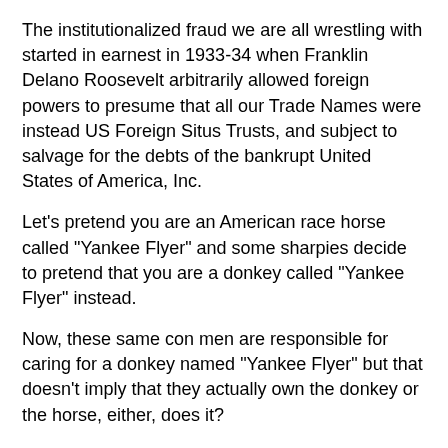The institutionalized fraud we are all wrestling with started in earnest in 1933-34 when Franklin Delano Roosevelt arbitrarily allowed foreign powers to presume that all our Trade Names were instead US Foreign Situs Trusts, and subject to salvage for the debts of the bankrupt United States of America, Inc.
Let's pretend you are an American race horse called "Yankee Flyer" and some sharpies decide to pretend that you are a donkey called "Yankee Flyer" instead.
Now, these same con men are responsible for caring for a donkey named "Yankee Flyer" but that doesn't imply that they actually own the donkey or the horse, either, does it?
What FDR did was make a false claim of ownership by induced assumption of both the donkey and the horse.  And all he was, was a stable boy.
I am publishing a diagram with this article, and I have to